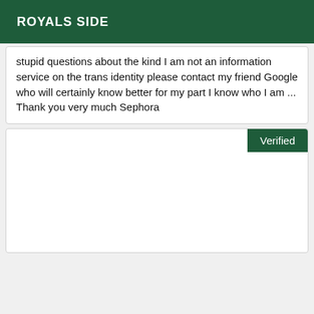ROYALS SIDE
stupid questions about the kind I am not an information service on the trans identity please contact my friend Google who will certainly know better for my part I know who I am ... Thank you very much Sephora
[Figure (screenshot): White card area with a dark green 'Verified' badge in the top-right corner and mostly empty white space below.]